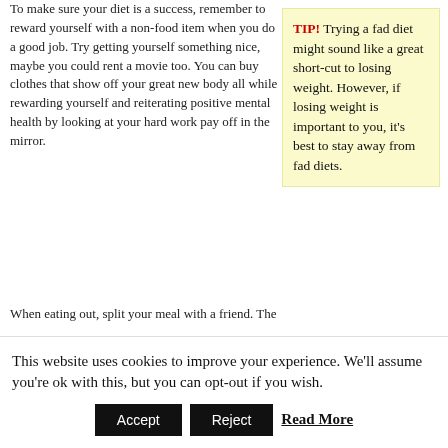To make sure your diet is a success, remember to reward yourself with a non-food item when you do a good job. Try getting yourself something nice, maybe you could rent a movie too. You can buy clothes that show off your great new body all while rewarding yourself and reiterating positive mental health by looking at your hard work pay off in the mirror.
TIP! Trying a fad diet might sound like a great short-cut to losing weight. However, if losing weight is important to you, it's best to stay away from fad diets.
When eating out, split your meal with a friend. The
This website uses cookies to improve your experience. We'll assume you're ok with this, but you can opt-out if you wish.